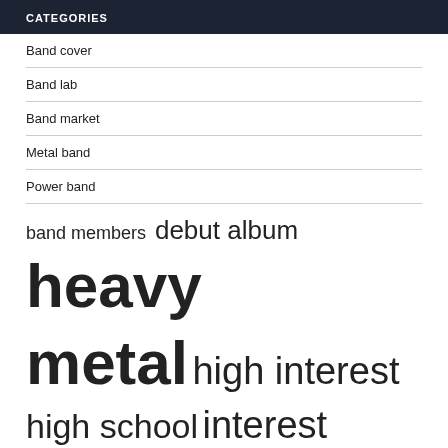CATEGORIES
Band cover
Band lab
Band market
Metal band
Power band
band members debut album heavy metal high interest high school interest rates loan debt metal band metal bands music scene music video payday lenders payday loans rock band